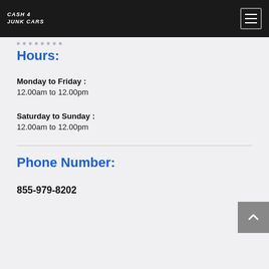CASH 4 JUNK CARS
Hours:
Monday to Friday :
12.00am to 12.00pm
Saturday to Sunday :
12.00am to 12.00pm
Phone Number:
855-979-8202